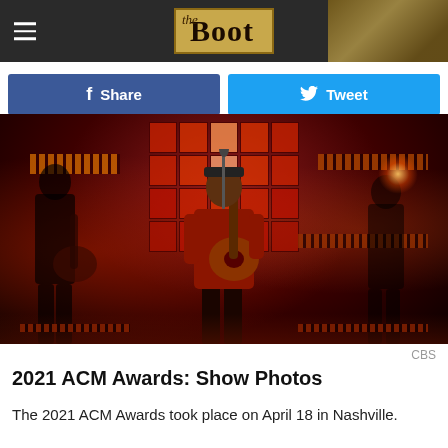the Boot
Share   Tweet
[Figure (photo): A performer on stage at a red-lit concert venue holding an acoustic guitar and singing into a microphone, with two other musicians visible in silhouette on either side. The background features a grid of red-lit LED panels.]
CBS
2021 ACM Awards: Show Photos
The 2021 ACM Awards took place on April 18 in Nashville.